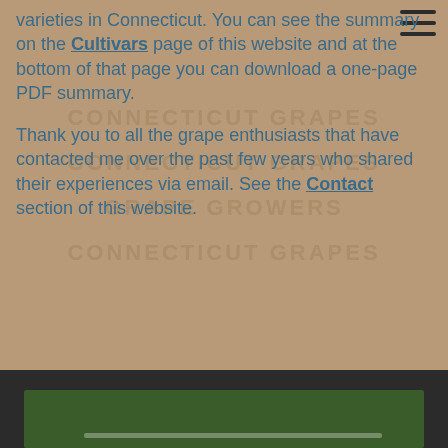varieties in Connecticut. You can see the summary on the Cultivars page of this website and at the bottom of that page you can download a one-page PDF summary.
Thank you to all the grape enthusiasts that have contacted me over the past few years who shared their experiences via email. See the Contact section of this website.